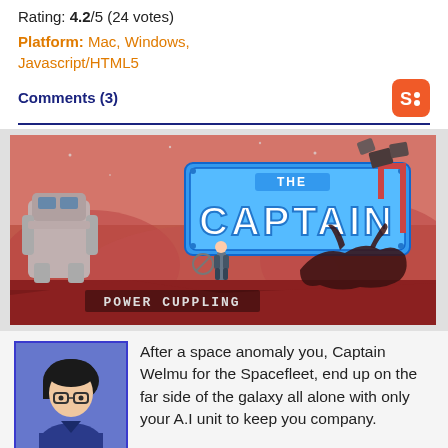Rating: 4.2/5 (24 votes)
Platform: Mac, Windows, Javascript/HTML5
Comments (3)
[Figure (screenshot): Screenshot of 'The Captain' game showing a red alien landscape with a robot, a human figure, and a large creature silhouette. Text at bottom reads 'POWER CUPPLING'.]
After a space anomaly you, Captain Welmu for the Spacefleet, end up on the far side of the galaxy all alone with only your A.I unit to keep you company. On your way to returning home you run into a weak signal for help coming from a planet called Hox. Decided to appease your curiosity you go down to see if you can help, only, of course, to